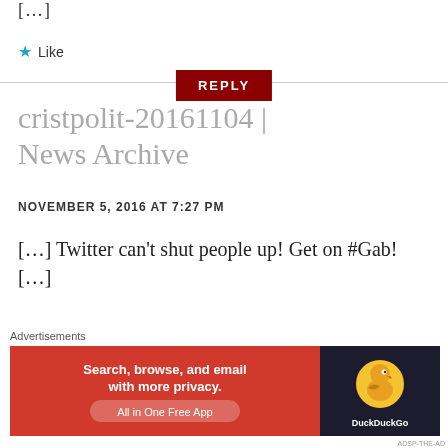[…]
★ Like
REPLY
cristpolit-20161104 | News Archive
NOVEMBER 5, 2016 AT 7:27 PM
[…] Twitter can't shut people up! Get on #Gab! […]
★ Like
[Figure (infographic): DuckDuckGo advertisement banner: orange/red background with text 'Search, browse, and email with more privacy. All in One Free App' and DuckDuckGo duck logo on dark background]
Advertisements